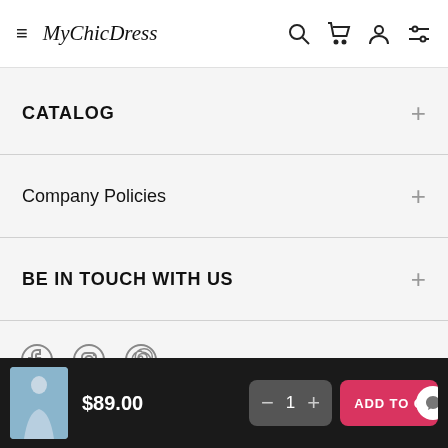MyChicDress — navigation header with hamburger menu, logo, search, cart, account, filter icons
CATALOG
Company Policies
BE IN TOUCH WITH US
[Figure (illustration): Social media icons: Facebook, Instagram, Pinterest]
$89.00  −  1  +  ADD TO CART